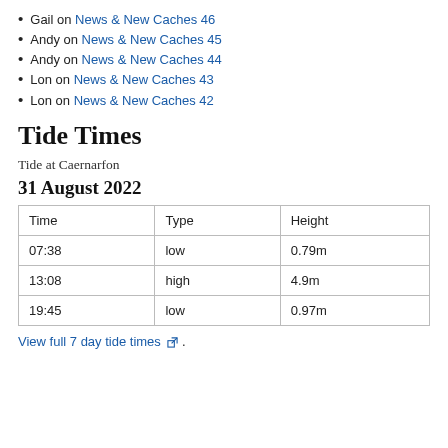Gail on News & New Caches 46
Andy on News & New Caches 45
Andy on News & New Caches 44
Lon on News & New Caches 43
Lon on News & New Caches 42
Tide Times
Tide at Caernarfon
31 August 2022
| Time | Type | Height |
| --- | --- | --- |
| 07:38 | low | 0.79m |
| 13:08 | high | 4.9m |
| 19:45 | low | 0.97m |
View full 7 day tide times .